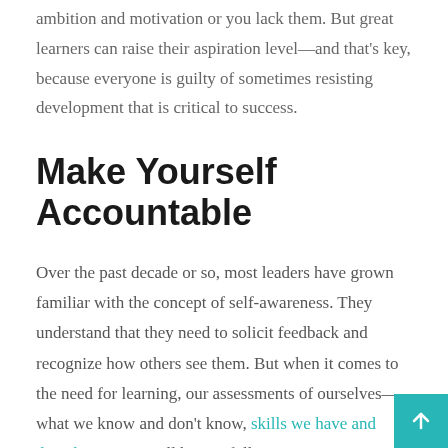ambition and motivation or you lack them. But great learners can raise their aspiration level—and that's key, because everyone is guilty of sometimes resisting development that is critical to success.
Make Yourself Accountable
Over the past decade or so, most leaders have grown familiar with the concept of self-awareness. They understand that they need to solicit feedback and recognize how others see them. But when it comes to the need for learning, our assessments of ourselves—what we know and don't know, skills we have and don't have—can still be woefully inaccurate. In one